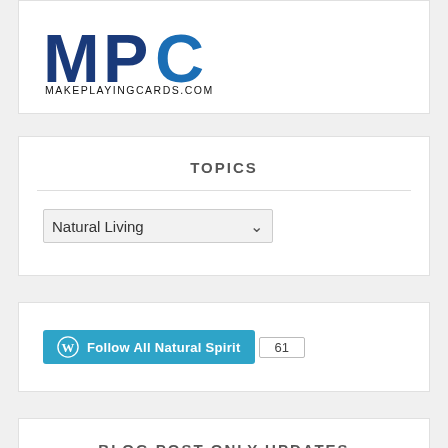[Figure (logo): MPC MakePlayingCards.com logo — large blue MPC letters above MAKEPLAYINGCARDS.COM in black]
TOPICS
Natural Living (dropdown select)
Follow All Natural Spirit  61
BLOG POST ONLY UPDATES